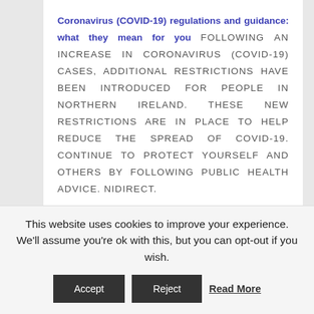Coronavirus (COVID-19) regulations and guidance: what they mean for you FOLLOWING AN INCREASE IN CORONAVIRUS (COVID-19) CASES, ADDITIONAL RESTRICTIONS HAVE BEEN INTRODUCED FOR PEOPLE IN NORTHERN IRELAND. THESE NEW RESTRICTIONS ARE IN PLACE TO HELP REDUCE THE SPREAD OF COVID-19. CONTINUE TO PROTECT YOURSELF AND OTHERS BY FOLLOWING PUBLIC HEALTH ADVICE. NIDIRECT.
Government statements
England
This website uses cookies to improve your experience. We'll assume you're ok with this, but you can opt-out if you wish.